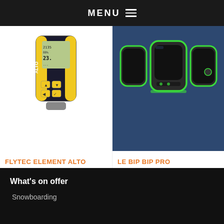MENU
[Figure (photo): Flytec Element Alto altimeter device in yellow and black casing with digital LCD display showing altitude and other readings]
[Figure (photo): Le Bip Bip Pro device shown in three views/angles, bright green and black casing]
FLYTEC ELEMENT ALTO
£175.00
LE BIP BIP PRO
£89.95
What's on offer
Snowboarding